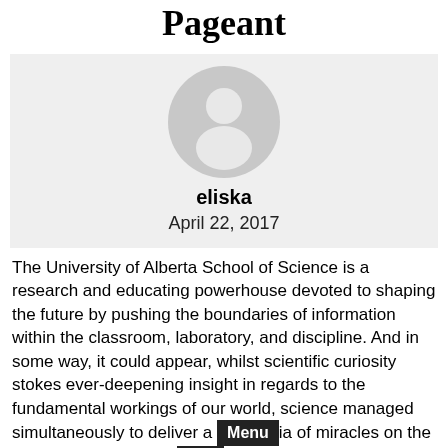Pageant
[Figure (illustration): Default user avatar silhouette (grey circle with white person icon) centered in a light grey box, with author name 'eliska' and date 'April 22, 2017' below.]
The University of Alberta School of Science is a research and educating powerhouse devoted to shaping the future by pushing the boundaries of information within the classroom, laboratory, and discipline. And in some way, it could appear, whilst scientific curiosity stokes ever-deepening insight in regards to the fundamental workings of our world, science managed simultaneously to deliver a c[Menu]ia of miracles on the sensible facet of the e[Menu], just as Bush predicted: digital computer systems, jet plane, cell phones, the Web, laser…